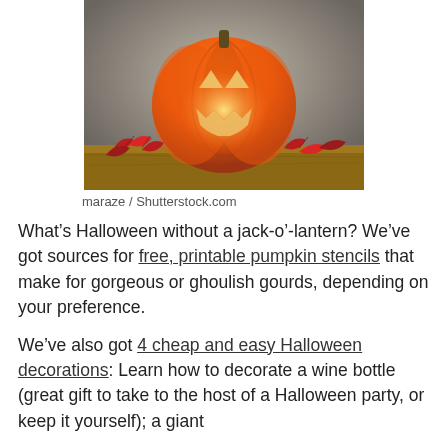[Figure (photo): A lit jack-o'-lantern pumpkin with glowing triangular eyes and jagged mouth, surrounded by red autumn leaves on a wooden surface, against a grey background.]
maraze / Shutterstock.com
What’s Halloween without a jack-o’-lantern? We’ve got sources for free, printable pumpkin stencils that make for gorgeous or ghoulish gourds, depending on your preference.
We’ve also got 4 cheap and easy Halloween decorations: Learn how to decorate a wine bottle (great gift to take to the host of a Halloween party, or keep it yourself); a giant